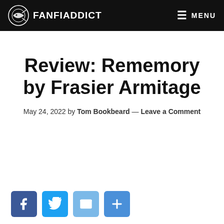FANFIADDICT — MENU
Review: Rememory by Frasier Armitage
May 24, 2022 by Tom Bookbeard — Leave a Comment
[Figure (other): Social share buttons: Facebook, Twitter, Email, Share]